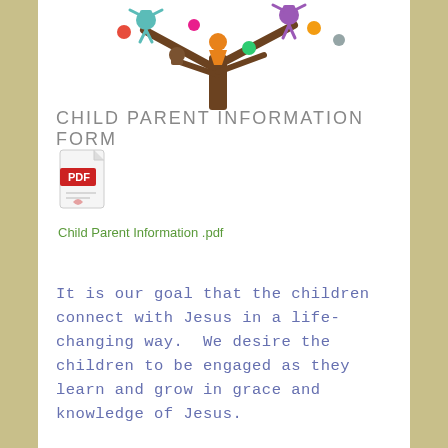[Figure (illustration): Colorful cartoon children characters hanging and playing on a tree, depicted in a playful style with various colors including orange, teal, purple, and brown.]
CHILD PARENT INFORMATION FORM
[Figure (other): PDF file icon with red PDF label and document graphic]
Child Parent Information .pdf
It is our goal that the children connect with Jesus in a life-changing way.  We desire the children to be engaged as they learn and grow in grace and knowledge of Jesus.